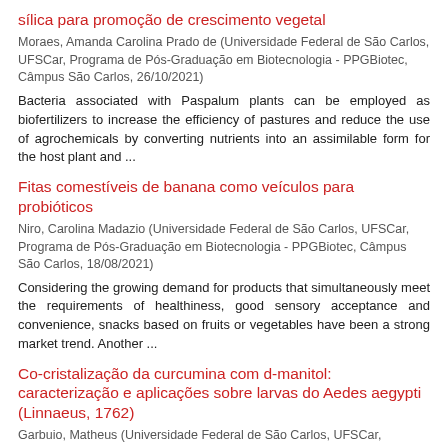sílica para promoção de crescimento vegetal
Moraes, Amanda Carolina Prado de (Universidade Federal de São Carlos, UFSCar, Programa de Pós-Graduação em Biotecnologia - PPGBiotec, Câmpus São Carlos, 26/10/2021)
Bacteria associated with Paspalum plants can be employed as biofertilizers to increase the efficiency of pastures and reduce the use of agrochemicals by converting nutrients into an assimilable form for the host plant and ...
Fitas comestíveis de banana como veículos para probióticos
Niro, Carolina Madazio (Universidade Federal de São Carlos, UFSCar, Programa de Pós-Graduação em Biotecnologia - PPGBiotec, Câmpus São Carlos, 18/08/2021)
Considering the growing demand for products that simultaneously meet the requirements of healthiness, good sensory acceptance and convenience, snacks based on fruits or vegetables have been a strong market trend. Another ...
Co-cristalização da curcumina com d-manitol: caracterização e aplicações sobre larvas do Aedes aegypti (Linnaeus, 1762)
Garbuio, Matheus (Universidade Federal de São Carlos, UFSCar,